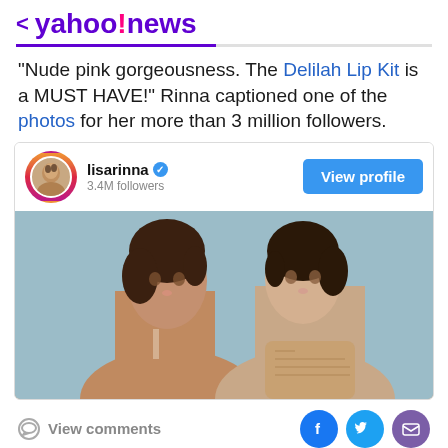< yahoo!news
"Nude pink gorgeousness. The Delilah Lip Kit is a MUST HAVE!" Rinna captioned one of the photos for her more than 3 million followers.
[Figure (screenshot): Instagram card for lisarinna with 3.4M followers, showing two women posing for a beauty/makeup product photo against a blue-grey background]
View comments